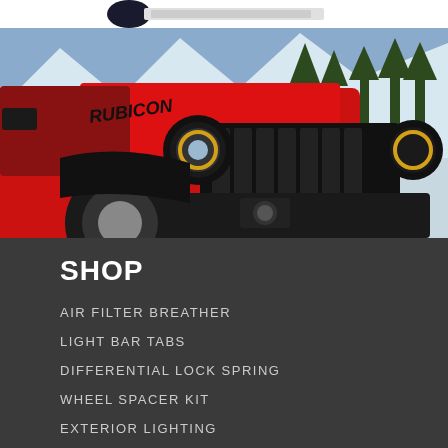[Figure (logo): Partial logo/banner at top of page on white background]
[Figure (photo): Red Jeep Wrangler Rubicon front view in snowy mountain landscape with round LED headlights and seven-slot grille]
SHOP
AIR FILTER BREATHER
LIGHT BAR TABS
DIFFERENTIAL LOCK SPRING
WHEEL SPACER KIT
EXTERIOR LIGHTING